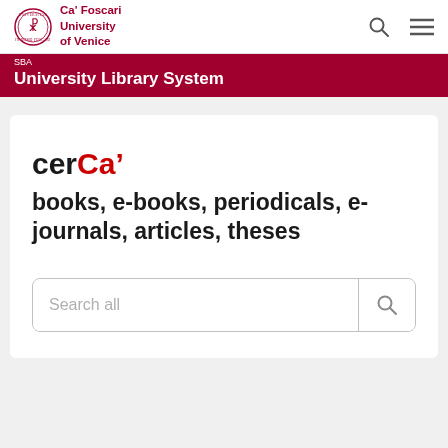Ca' Foscari University of Venice
SBA
University Library System
cerCa'
books, e-books, periodicals, e-journals, articles, theses
Search all